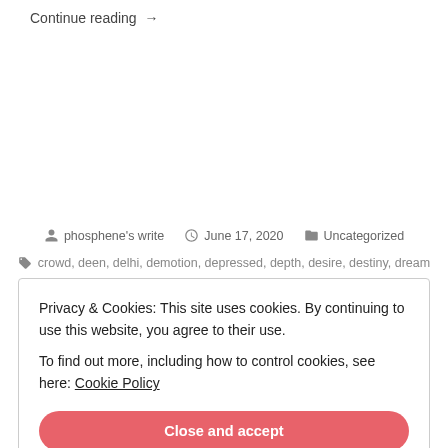Continue reading →
phosphene's write   June 17, 2020   Uncategorized
crowd, deen, delhi, demotion, depressed, depth, desire, destiny, dream
Privacy & Cookies: This site uses cookies. By continuing to use this website, you agree to their use.
To find out more, including how to control cookies, see here: Cookie Policy
Close and accept